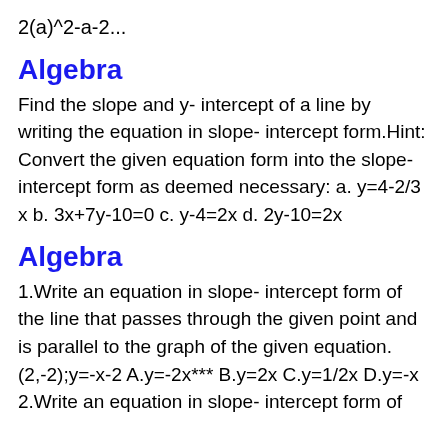2(a)^2-a-2...
Algebra
Find the slope and y- intercept of a line by writing the equation in slope- intercept form.Hint: Convert the given equation form into the slope-intercept form as deemed necessary: a. y=4-2/3 x b. 3x+7y-10=0 c. y-4=2x d. 2y-10=2x
Algebra
1.Write an equation in slope- intercept form of the line that passes through the given point and is parallel to the graph of the given equation. (2,-2);y=-x-2 A.y=-2x*** B.y=2x C.y=1/2x D.y=-x 2.Write an equation in slope- intercept form of